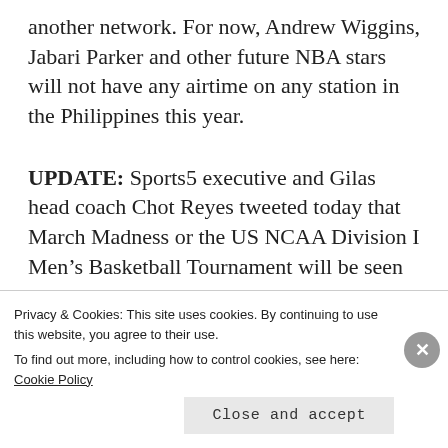another network. For now, Andrew Wiggins, Jabari Parker and other future NBA stars will not have any airtime on any station in the Philippines this year.
UPDATE: Sports5 executive and Gilas head coach Chot Reyes tweeted today that March Madness or the US NCAA Division I Men's Basketball Tournament will be seen on TV5 this March. The coverage
Privacy & Cookies: This site uses cookies. By continuing to use this website, you agree to their use.
To find out more, including how to control cookies, see here: Cookie Policy
Close and accept